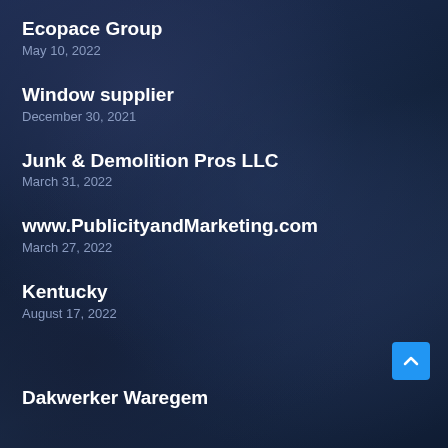Ecopace Group
May 10, 2022
Window supplier
December 30, 2021
Junk & Demolition Pros LLC
March 31, 2022
www.PublicityandMarketing.com
March 27, 2022
Kentucky
August 17, 2022
Dakwerker Waregem